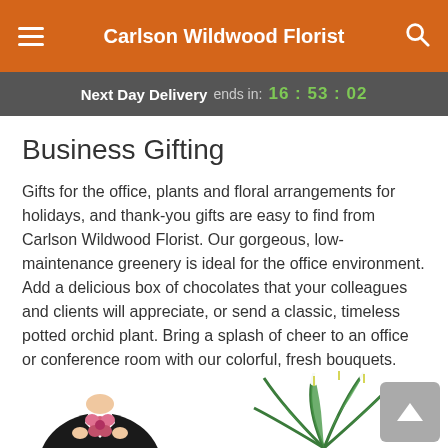Carlson Wildwood Florist
Next Day Delivery ends in: 16:53:02
Business Gifting
Gifts for the office, plants and floral arrangements for holidays, and thank-you gifts are easy to find from Carlson Wildwood Florist. Our gorgeous, low-maintenance greenery is ideal for the office environment. Add a delicious box of chocolates that your colleagues and clients will appreciate, or send a classic, timeless potted orchid plant. Bring a splash of cheer to an office or conference room with our colorful, fresh bouquets.
Best Sellers | Highest Price | Lowest Price
[Figure (photo): Two product photos partially visible at the bottom: left shows a person in black attire holding a pink flower; right shows a white peace lily plant arrangement.]